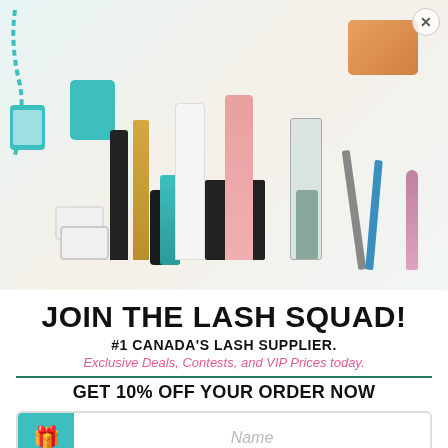[Figure (photo): Flat lay photo of various lash and beauty products including mascara wands, tweezers, glue bottles, lash pads, tape, brushes, and an orange cosmetic bag on a light background]
JOIN THE LASH SQUAD!
#1 CANADA'S LASH SUPPLIER.
Exclusive Deals, Contests, and VIP Prices today.
GET 10% OFF YOUR ORDER NOW
Name